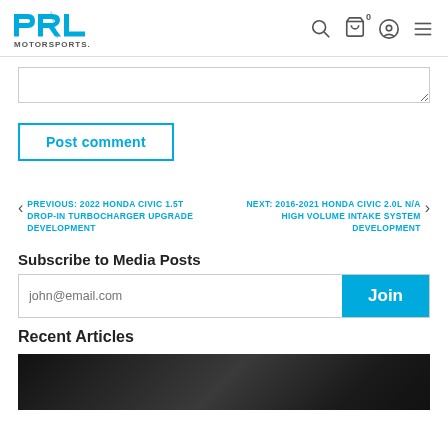PRL MOTORSPORTS — navigation header with search, cart, account, and menu icons
Post comment textarea
Post comment
PREVIOUS: 2022 HONDA CIVIC 1.5T DROP-IN TURBOCHARGER UPGRADE DEVELOPMENT
NEXT: 2016-2021 HONDA CIVIC 2.0L N/A HIGH VOLUME INTAKE SYSTEM DEVELOPMENT
Subscribe to Media Posts
john@email.com — Join
Recent Articles
[Figure (photo): Dark photo at bottom of page under Recent Articles]